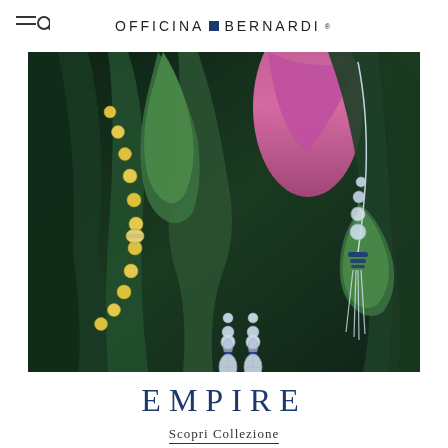OFFICINA BERNARDI
[Figure (photo): Jewelry collection photo showing gold beaded necklace, dangling crystal and sapphire earrings, and a long diamond and sapphire pendant necklace, displayed against a background of dark green calla lily leaves and a pink calla lily flower.]
EMPIRE
Scopri Collezione